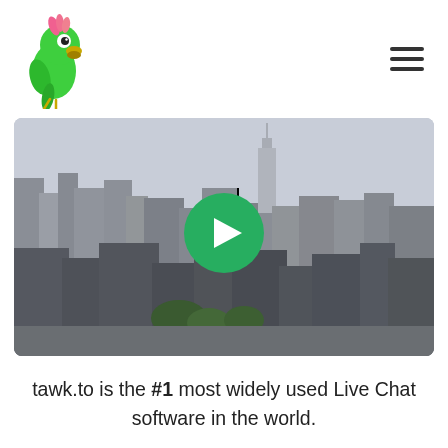[Figure (logo): Green parrot mascot logo for tawk.to, parrot facing left with pink crest]
[Figure (photo): Aerial/elevated grayscale cityscape photo of New York City skyline showing dense urban buildings with One World Trade Center visible in background. A large green circle with a white play button icon is overlaid in the center of the image.]
tawk.to is the #1 most widely used Live Chat software in the world.